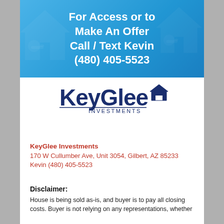[Figure (infographic): Blue banner with white bold text: 'For Access or to Make An Offer Call / Text Kevin (480) 405-5523', with KeyGlee house/key logo icons in background]
[Figure (logo): KeyGlee Investments logo in dark navy blue with house icon]
KeyGlee Investments
170 W Cullumber Ave, Unit 3054, Gilbert, AZ 85233
Kevin (480) 405-5523
Disclaimer:
House is being sold as-is, and buyer is to pay all closing costs. Buyer is not relying on any representations, whether